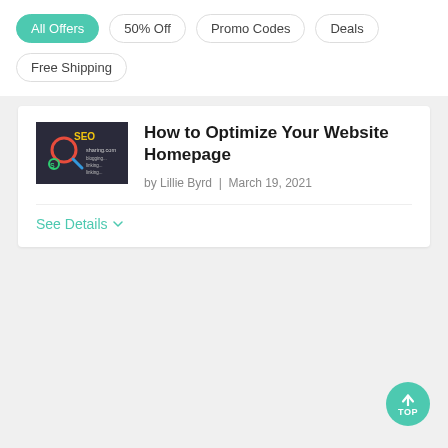All Offers | 50% Off | Promo Codes | Deals | Free Shipping
How to Optimize Your Website Homepage
by Lillie Byrd  |  March 19, 2021
[Figure (photo): Thumbnail image showing SEO-related content on a dark background with colorful text and icons]
See Details